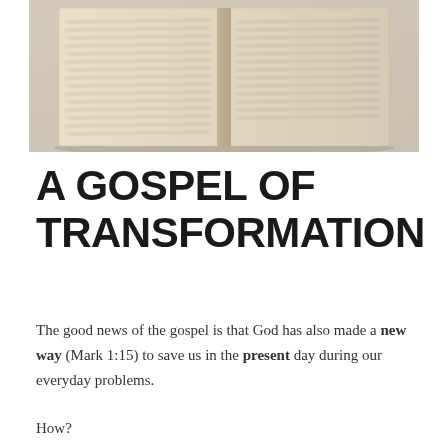[Figure (photo): An open antique handwritten journal or diary with cursive text on both pages, photographed on a light surface with a warm vintage tone.]
A GOSPEL OF TRANSFORMATION
The good news of the gospel is that God has also made a new way (Mark 1:15) to save us in the present day during our everyday problems.
How?